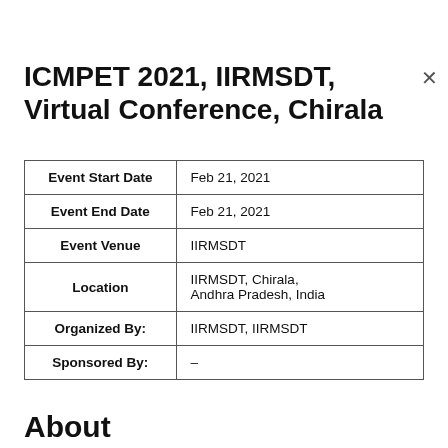ICMPET 2021, IIRMSDT, Virtual Conference, Chirala
|  |  |
| --- | --- |
| Event Start Date | Feb 21, 2021 |
| Event End Date | Feb 21, 2021 |
| Event Venue | IIRMSDT |
| Location | IIRMSDT, Chirala,
Andhra Pradesh, India |
| Organized By: | IIRMSDT, IIRMSDT |
| Sponsored By: | – |
About